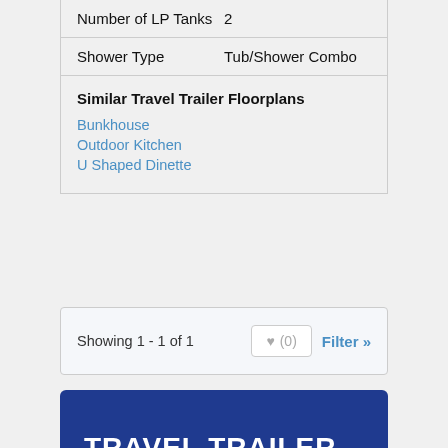| Spec | Value |
| --- | --- |
| Number of LP Tanks | 2 |
| Shower Type | Tub/Shower Combo |
Similar Travel Trailer Floorplans
Bunkhouse
Outdoor Kitchen
U Shaped Dinette
Showing 1 - 1 of 1
TRAVEL TRAILER